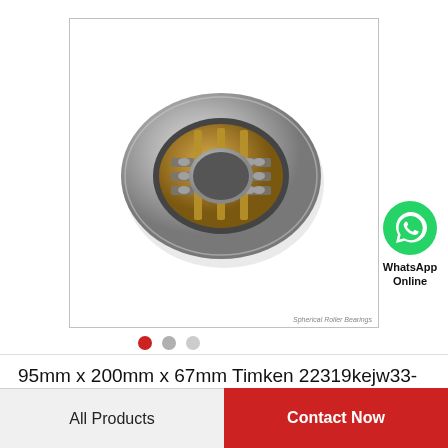[Figure (photo): Photograph of a spherical roller bearing (95mm x 200mm x 67mm Timken 22319kejw33) shown at an angle, revealing the internal rollers and brass cage. The outer ring is silver-gray metal, and the cage/rollers are gold/brass colored.]
Spherical Roller Bearings
[Figure (logo): WhatsApp logo — green circle with white phone handset icon. Text below reads 'WhatsApp Online'.]
WhatsApp Online
95mm x 200mm x 67mm Timken 22319kejw33-timken Spherical Roller Bearings
All Products
Contact Now